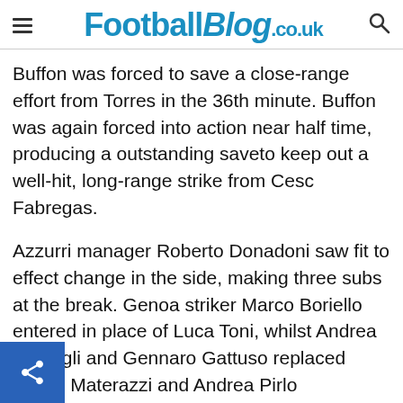FootballBlog.co.uk
Buffon was forced to save a close-range effort from Torres in the 36th minute. Buffon was again forced into action near half time, producing a outstanding saveto keep out a well-hit, long-range strike from Cesc Fabregas.
Azzurri manager Roberto Donadoni saw fit to effect change in the side, making three subs at the break. Genoa striker Marco Boriello entered in place of Luca Toni, whilst Andrea Barzagli and Gennaro Gattuso replaced Marco Materazzi and Andrea Pirlo repectively.
The changes reignited some fire in the Italians, king the more likely side to score straight after